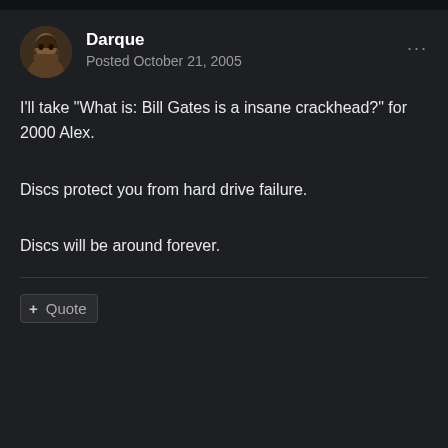Darque
Posted October 21, 2005
I'll take "What is: Bill Gates is a insane crackhead?" for 2000 Alex.
Discs protect you from hard drive failure.
Discs will be around forever.